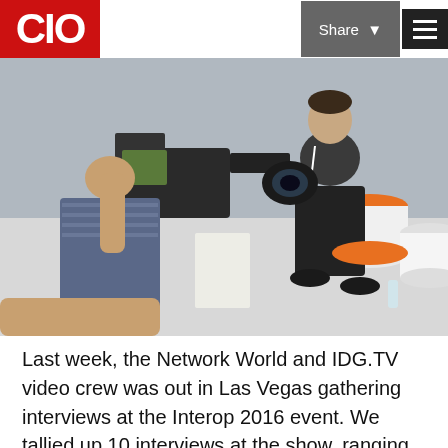CIO | Share | Menu
[Figure (photo): A video crew member holding a professional camera films a man seated on a white cylindrical stool. The seated man wears a dark t-shirt and has a conference badge lanyard. Orange and white cylindrical stools are visible in the background. The setting appears to be a conference floor at Interop 2016.]
Last week, the Network World and IDG.TV video crew was out in Las Vegas gathering interviews at the Interop 2016 event. We tallied up 10 interviews at the show, ranging in topics from networking to security to Wi-Fi. If you missed the show and want to get a sense of some of the companies and issues discussed, take a look below: